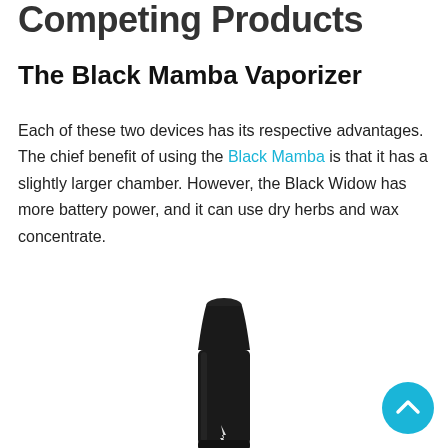Competing Products
The Black Mamba Vaporizer
Each of these two devices has its respective advantages. The chief benefit of using the Black Mamba is that it has a slightly larger chamber. However, the Black Widow has more battery power, and it can use dry herbs and wax concentrate.
[Figure (photo): Photo of the Black Mamba Vaporizer device — a black pen-style vaporizer with a tapered mouthpiece at the top, shown vertically centered in the lower portion of the page.]